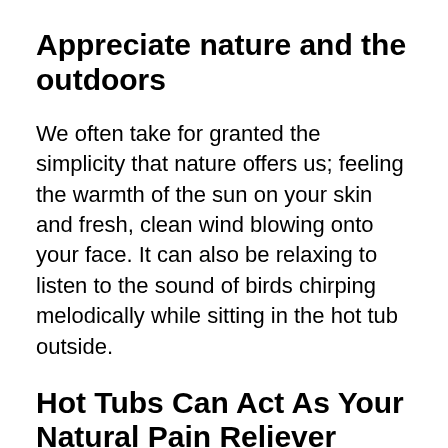Appreciate nature and the outdoors
We often take for granted the simplicity that nature offers us; feeling the warmth of the sun on your skin and fresh, clean wind blowing onto your face. It can also be relaxing to listen to the sound of birds chirping melodically while sitting in the hot tub outside.
Hot Tubs Can Act As Your Natural Pain Reliever